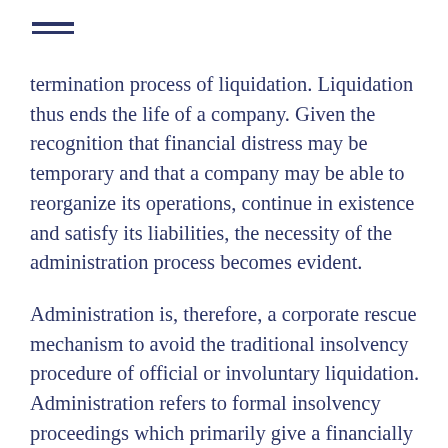≡ (menu icon)
termination process of liquidation. Liquidation thus ends the life of a company. Given the recognition that financial distress may be temporary and that a company may be able to reorganize its operations, continue in existence and satisfy its liabilities, the necessity of the administration process becomes evident.
Administration is, therefore, a corporate rescue mechanism to avoid the traditional insolvency procedure of official or involuntary liquidation. Administration refers to formal insolvency proceedings which primarily give a financially distressed company a breather to recuperate. Under